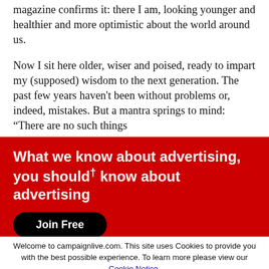magazine confirms it: there I am, looking younger and healthier and more optimistic about the world around us.
Now I sit here older, wiser and poised, ready to impart my (supposed) wisdom to the next generation. The past few years haven't been without problems or, indeed, mistakes. But a mantra springs to mind: "There are no such things..."
[Figure (infographic): Red advertisement banner overlay with white bold text: 'What we know about advertising, you should know about advertising' with a superscript dagger symbol, and a black 'Join Free' button with rounded corners.]
be present in your office flourishing in your role. As head of broadcast, this means making brilliant productions all the right
Welcome to campaignlive.com. This site uses Cookies to provide you with the best possible experience. To learn more please view our Cookie Notice.
[Figure (screenshot): Green 'Close' button for cookie notice dismissal.]